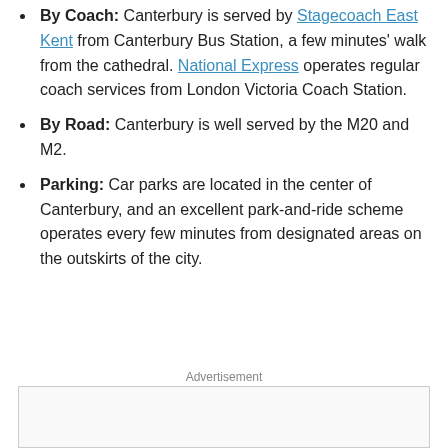By Coach: Canterbury is served by Stagecoach East Kent from Canterbury Bus Station, a few minutes' walk from the cathedral. National Express operates regular coach services from London Victoria Coach Station.
By Road: Canterbury is well served by the M20 and M2.
Parking: Car parks are located in the center of Canterbury, and an excellent park-and-ride scheme operates every few minutes from designated areas on the outskirts of the city.
Advertisement